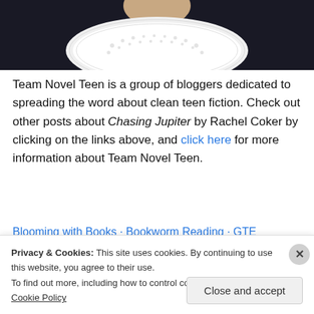[Figure (photo): Partial photo of a person wearing a white lace collar against a dark knit sweater background]
Team Novel Teen is a group of bloggers dedicated to spreading the word about clean teen fiction. Check out other posts about Chasing Jupiter by Rachel Coker by clicking on the links above, and click here for more information about Team Novel Teen.
Blooming with Books · Bookworm Reading · GTE
Privacy & Cookies: This site uses cookies. By continuing to use this website, you agree to their use.
To find out more, including how to control cookies, see here: Cookie Policy
Close and accept